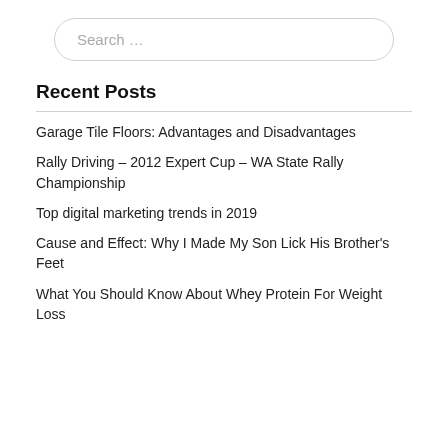Search …
Recent Posts
Garage Tile Floors: Advantages and Disadvantages
Rally Driving – 2012 Expert Cup – WA State Rally Championship
Top digital marketing trends in 2019
Cause and Effect: Why I Made My Son Lick His Brother's Feet
What You Should Know About Whey Protein For Weight Loss